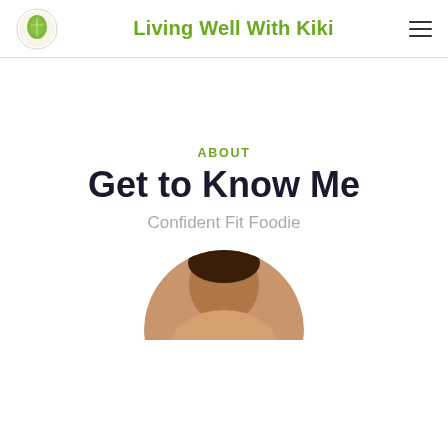Living Well With Kiki
ABOUT
Get to Know Me
Confident Fit Foodie
[Figure (photo): Circular cropped portrait photo of a person, partially visible at the bottom of the page]